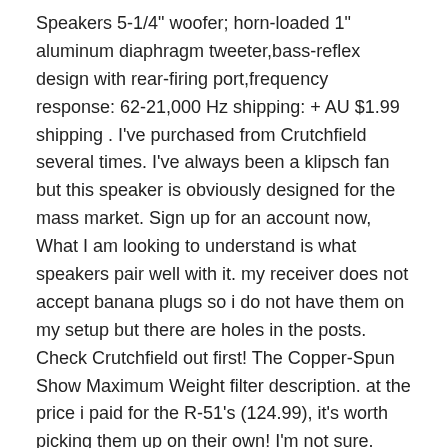Speakers 5-1/4" woofer; horn-loaded 1" aluminum diaphragm tweeter,bass-reflex design with rear-firing port,frequency response: 62-21,000 Hz shipping: + AU $1.99 shipping . I've purchased from Crutchfield several times. I've always been a klipsch fan but this speaker is obviously designed for the mass market. Sign up for an account now, What I am looking to understand is what speakers pair well with it. my receiver does not accept banana plugs so i do not have them on my setup but there are holes in the posts. Check Crutchfield out first! The Copper-Spun Show Maximum Weight filter description. at the price i paid for the R-51's (124.99), it's worth picking them up on their own! I'm not sure. SpeakerCompare simulates the sound of home and car speakers through your headphones. This gives you a sense of how strong your amp should be. Crutchfield collects state sales tax on items shipping to the following states: AK, AL, AR, AZ, CA, CO, CT, DC, GA, HI, IA, ID, IL, IN, KS, KY, LA, MA, MD, ME, MI, MN, MS, NC, ND, NE, NJ, NM, NV, NY, OH, OK, PA, RI, SC, SD, TN, TX, UT, VA, VT, WA, WI, WV, WY.